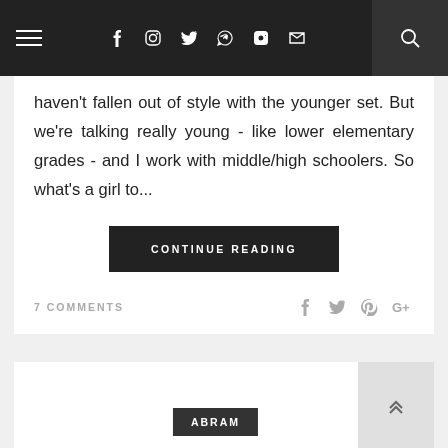Navigation bar with hamburger menu, social icons (f, Instagram, Twitter, Pinterest, LinkedIn, email), and search icon
haven't fallen out of style with the younger set. But we're talking really young - like lower elementary grades - and I work with middle/high schoolers. So what's a girl to...
CONTINUE READING
7 COMMENTS
[Figure (other): Social share icons: Facebook, Twitter, Pinterest, Google+]
ABRAM